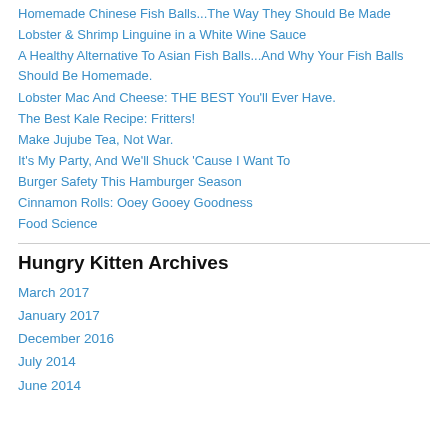Homemade Chinese Fish Balls...The Way They Should Be Made
Lobster & Shrimp Linguine in a White Wine Sauce
A Healthy Alternative To Asian Fish Balls...And Why Your Fish Balls Should Be Homemade.
Lobster Mac And Cheese: THE BEST You'll Ever Have.
The Best Kale Recipe: Fritters!
Make Jujube Tea, Not War.
It's My Party, And We'll Shuck 'Cause I Want To
Burger Safety This Hamburger Season
Cinnamon Rolls: Ooey Gooey Goodness
Food Science
Hungry Kitten Archives
March 2017
January 2017
December 2016
July 2014
June 2014